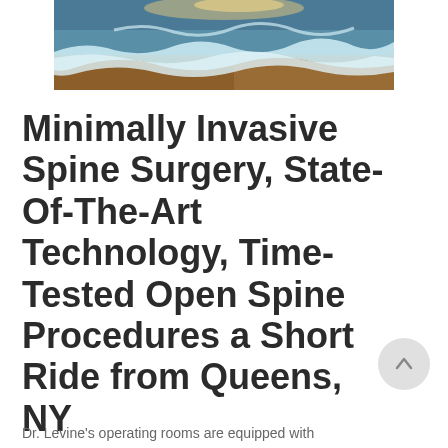[Figure (photo): Aerial or ground-level photo of ocean waves washing onto a sandy beach, with white foam and blue water visible.]
Minimally Invasive Spine Surgery, State-Of-The-Art Technology, Time-Tested Open Spine Procedures a Short Ride from Queens, NY
Dr. Levine's operating rooms are equipped with